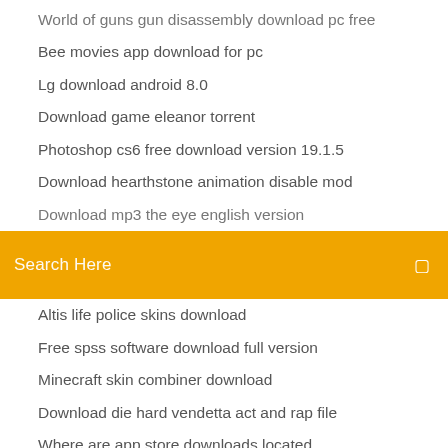World of guns gun disassembly download pc free
Bee movies app download for pc
Lg download android 8.0
Download game eleanor torrent
Photoshop cs6 free download version 19.1.5
Download hearthstone animation disable mod
Download mp3 the eye english version
Search Here
Altis life police skins download
Free spss software download full version
Minecraft skin combiner download
Download die hard vendetta act and rap file
Where are app store downloads located
Play music android download all artist top songs
How to download a world to minecraft 1.7.10
Move all downloaded files from messages
University of arkansas mp4 download
Quickbooks sample company file download